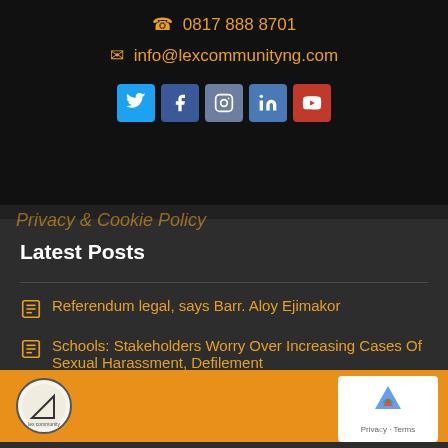0817 888 8701
info@lexcommunityng.com
[Figure (infographic): Social media icons row: Twitter (blue), Facebook (dark blue), Instagram (slate blue), LinkedIn (blue), YouTube (red)]
Privacy & Cookie Policy
Latest Posts
Referendum legal, says Barr. Aloy Ejimakor
Schools: Stakeholders Worry Over Increasing Cases Of Sexual Harassment, Defilement
[Figure (logo): Lex Community NG logo in circle on orange navigation bar with hamburger menu]
[Figure (other): Google reCAPTCHA badge]
Contact Us